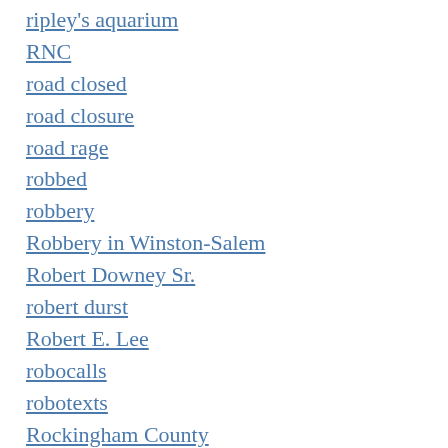ripley's aquarium
RNC
road closed
road closure
road rage
robbed
robbery
Robbery in Winston-Salem
Robert Downey Sr.
robert durst
Robert E. Lee
robocalls
robotexts
Rockingham County
Rockingham County Schools